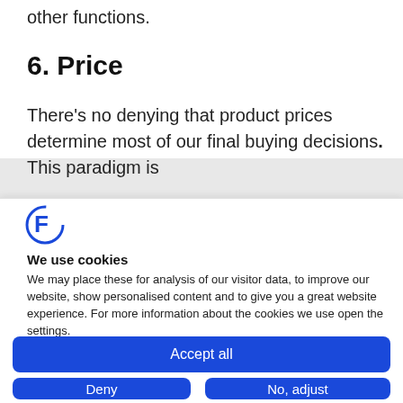other functions.
6. Price
There’s no denying that product prices determine most of our final buying decisions. This paradigm is
[Figure (logo): Blue stylized letter F logo (Cookiebot/similar cookie consent logo)]
We use cookies
We may place these for analysis of our visitor data, to improve our website, show personalised content and to give you a great website experience. For more information about the cookies we use open the settings.
Accept all
Deny
No, adjust